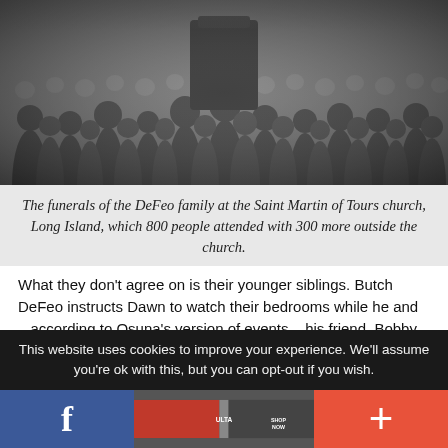[Figure (photo): Black and white photograph of a large crowd of people, viewed from behind, at a funeral service. People are dressed in dark formal attire, seated in church pews with a coffin visible at the front.]
The funerals of the DeFeo family at the Saint Martin of Tours church, Long Island, which 800 people attended with 300 more outside the church.
What they don't agree on is their younger siblings. Butch DeFeo instructs Dawn to watch their bedrooms while he and – according to Osuna's version of events – his friend, Bobby Kelske, do away with Ronald and Louise. Dawn
This website uses cookies to improve your experience. We'll assume you're ok with this, but you can opt-out if you wish.